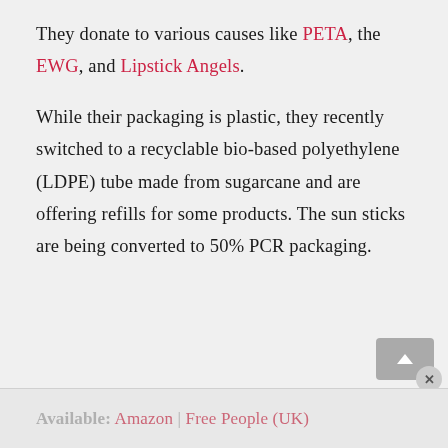They donate to various causes like PETA, the EWG, and Lipstick Angels. While their packaging is plastic, they recently switched to a recyclable bio-based polyethylene (LDPE) tube made from sugarcane and are offering refills for some products. The sun sticks are being converted to 50% PCR packaging.
Available: Amazon | Free People (UK)